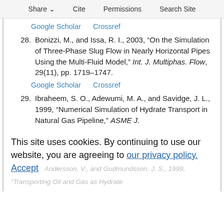Share  Cite  Permissions  Search Site
Google Scholar    Crossref
28. Bonizzi, M., and Issa, R. I., 2003, “On the Simulation of Three-Phase Slug Flow in Nearly Horizontal Pipes Using the Multi-Fluid Model,” Int. J. Multiphas. Flow, 29(11), pp. 1719–1747.
Google Scholar    Crossref
29. Ibraheem, S. O., Adewumi, M. A., and Savidge, J. L., 1999, “Numerical Simulation of Hydrate Transport in Natural Gas Pipeline,” ASME J. Energ. Resour. Technol., 120(1), pp. 20–26.
This site uses cookies. By continuing to use our website, you are agreeing to our privacy policy.
Accept